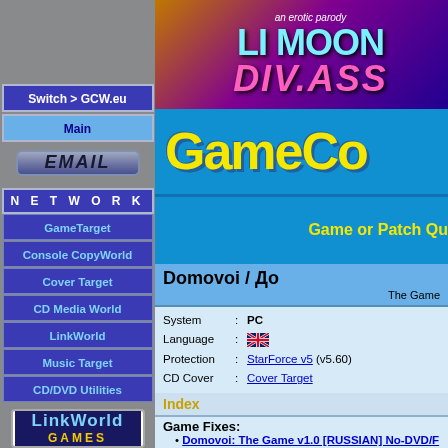[Figure (illustration): iStripper advertisement banner for 'Li Moon Div.Ass' erotic parody game with Korean text, purple/orange gradient background]
[Figure (logo): GameCopyWorld logo in yellow on blue background]
Game or Patch Qu
Switch > GCW.eu
Main
[Figure (illustration): EMAIL button graphic]
N E T W O R K
GameTarget
Console CopyWorld
Cover Target
CD Media World
LinkWorld
Music Target
CD/DVD Utilities
[Figure (logo): LinkWorld Games logo, blue background with cyan and yellow text]
Domovoi / До
The Game
| System | : | PC |
| Language | : | [UK flag] |
| Protection | : | StarForce v5 (v5.60) |
| CD Cover | : | Cover Target |
Index
Game Fixes:
Domovoi: The Game v1.0 [RUSSIAN] No-DVD/F